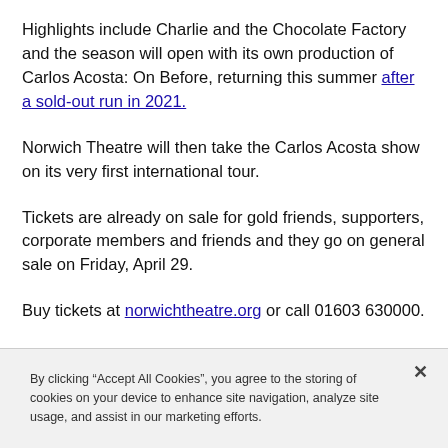Highlights include Charlie and the Chocolate Factory and the season will open with its own production of Carlos Acosta: On Before, returning this summer after a sold-out run in 2021.
Norwich Theatre will then take the Carlos Acosta show on its very first international tour.
Tickets are already on sale for gold friends, supporters, corporate members and friends and they go on general sale on Friday, April 29.
Buy tickets at norwichtheatre.org or call 01603 630000.
By clicking “Accept All Cookies”, you agree to the storing of cookies on your device to enhance site navigation, analyze site usage, and assist in our marketing efforts.